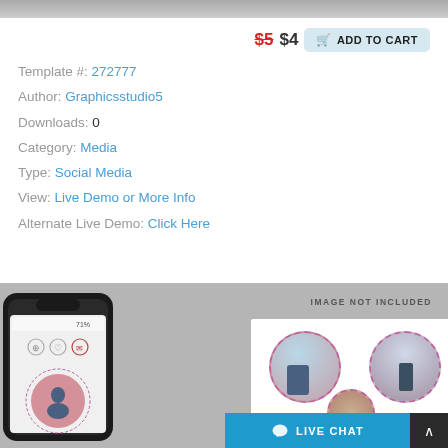[Figure (screenshot): Top gray gradient bar representing cropped image area]
$5 $4  ADD TO CART
Template #: 272777
Author: Graphicsstudio5
Downloads: 0
Category: Media
Type: Social Media
View: Live Demo or More Info
Alternate Live Demo: Click Here
[Figure (screenshot): Bottom preview showing phone mockup and social media template preview with circular photo frames. Text reads IMAGE NOT INCLUDED. Live chat button visible at bottom right.]